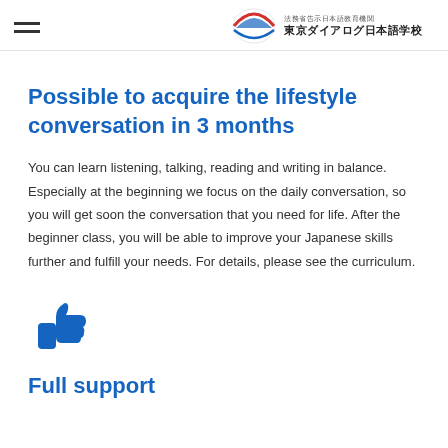東京ダイアログ日本語学校 (Tokyo Dialog Japanese Language School)
Possible to acquire the lifestyle conversation in 3 months
You can learn listening, talking, reading and writing in balance. Especially at the beginning we focus on the daily conversation, so you will get soon the conversation that you need for life. After the beginner class, you will be able to improve your Japanese skills further and fulfill your needs. For details, please see the curriculum.
[Figure (illustration): Blue thumbs-up / like icon]
Full support